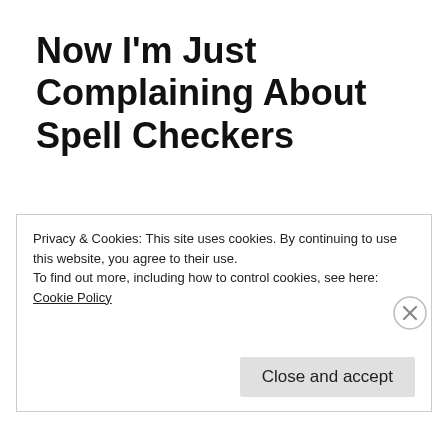Now I’m Just Complaining About Spell Checkers
[Figure (other): Five empty star rating icons with a teal info icon and 'Rate This' label]
I paid, I assume, good money to have a spell checker somewhere on my computer so why is it letting me get away with listing “trange” as a
Privacy & Cookies: This site uses cookies. By continuing to use this website, you agree to their use.
To find out more, including how to control cookies, see here:
Cookie Policy
Close and accept